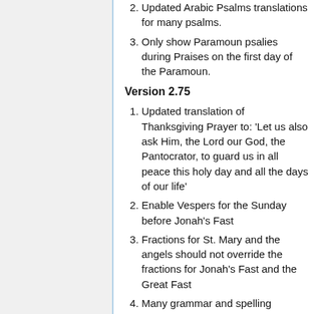Updated Arabic Psalms translations for many psalms.
Only show Paramoun psalies during Praises on the first day of the Paramoun.
Version 2.75
Updated translation of Thanksgiving Prayer to: 'Let us also ask Him, the Lord our God, the Pantocrator, to guard us in all peace this holy day and all the days of our life'
Enable Vespers for the Sunday before Jonah's Fast
Fractions for St. Mary and the angels should not override the fractions for Jonah's Fast and the Great Fast
Many grammar and spelling corrections